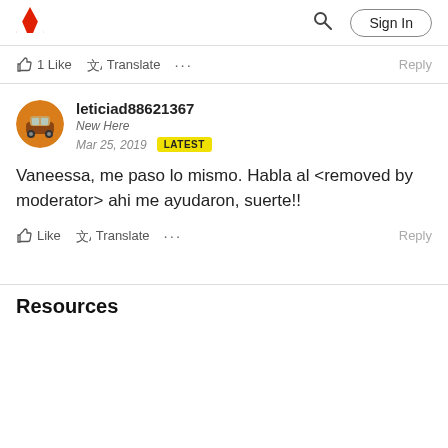Adobe | Sign In
1 Like  Translate  ...  Reply
leticiad88621367
New Here
Mar 25, 2019  LATEST
Vaneessa, me paso lo mismo. Habla al <removed by moderator> ahi me ayudaron, suerte!!
Like  Translate  ...  Reply
Resources